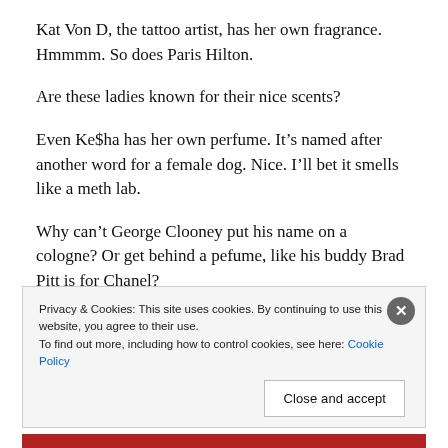Kat Von D, the tattoo artist, has her own fragrance. Hmmmm. So does Paris Hilton.
Are these ladies known for their nice scents?
Even Ke$ha has her own perfume. It's named after another word for a female dog. Nice. I'll bet it smells like a meth lab.
Why can't George Clooney put his name on a cologne? Or get behind a pefume, like his buddy Brad Pitt is for Chanel?
Privacy & Cookies: This site uses cookies. By continuing to use this website, you agree to their use. To find out more, including how to control cookies, see here: Cookie Policy
Close and accept